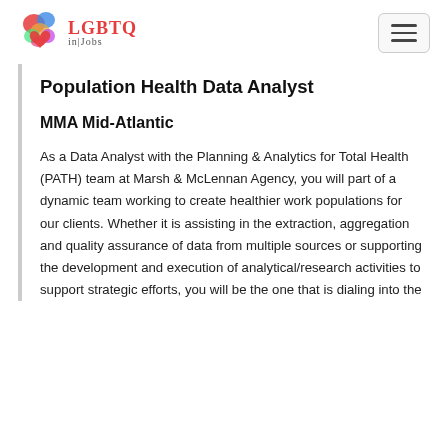LGBTQ in Jobs
Population Health Data Analyst
MMA Mid-Atlantic
As a Data Analyst with the Planning & Analytics for Total Health (PATH) team at Marsh & McLennan Agency, you will part of a dynamic team working to create healthier work populations for our clients. Whether it is assisting in the extraction, aggregation and quality assurance of data from multiple sources or supporting the development and execution of analytical/research activities to support strategic efforts, you will be the one that is dialing into the